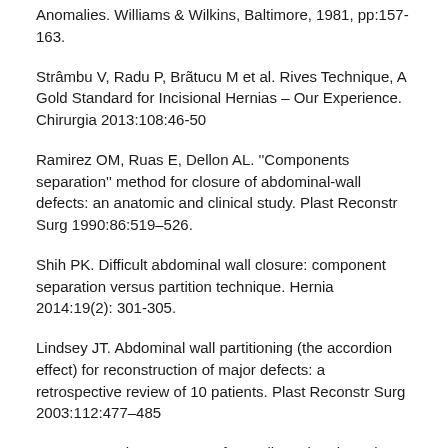Anomalies. Williams & Wilkins, Baltimore, 1981, pp:157-163.
Strâmbu V, Radu P, Brãtucu M et al. Rives Technique, A Gold Standard for Incisional Hernias – Our Experience. Chirurgia 2013:108:46-50
Ramirez OM, Ruas E, Dellon AL. ''Components separation'' method for closure of abdominal-wall defects: an anatomic and clinical study. Plast Reconstr Surg 1990:86:519–526.
Shih PK. Difficult abdominal wall closure: component separation versus partition technique. Hernia 2014:19(2): 301-305.
Lindsey JT. Abdominal wall partitioning (the accordion effect) for reconstruction of major defects: a retrospective review of 10 patients. Plast Reconstr Surg 2003:112:477–485
Stoppa RE: The treatment of complicated groin and